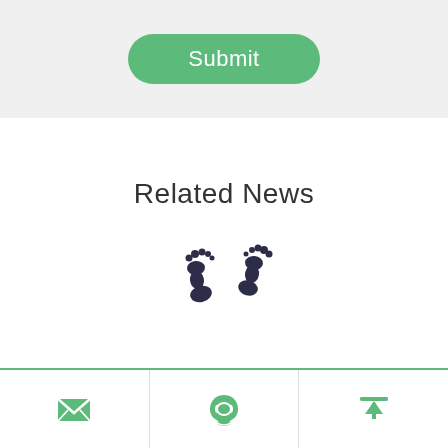[Figure (screenshot): Green rounded Submit button on light grey background]
Related News
[Figure (illustration): Two baby footprints (ink stamp style) in dark navy/black]
[Figure (infographic): Bottom navigation bar with three icons: envelope (email), telephone, and upload/back-to-top arrow, separated by vertical dividers, green color scheme]